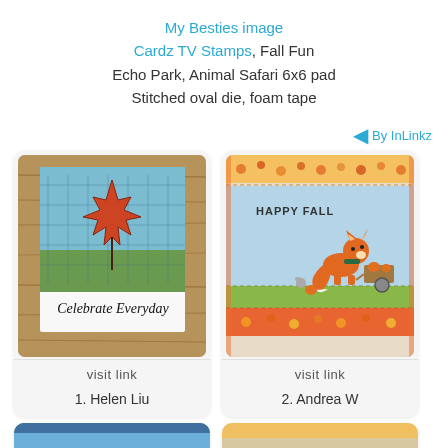My Besties image
Cardz TV Stamps, Fall Fun
Echo Park, Animal Safari 6x6 pad
Stitched oval die, foam tape
By InLinkz
[Figure (photo): Card 1: Polaroid-style card with autumn leaf artwork on wood background, cursive text 'Celebrate Everyday']
visit link
1. Helen Liu
[Figure (photo): Card 2: Happy Fall card with fox pulling a cart of pumpkins, patterned paper borders]
visit link
2. Andrea W
[Figure (photo): Partial card visible at bottom left]
[Figure (photo): Partial card visible at bottom right]